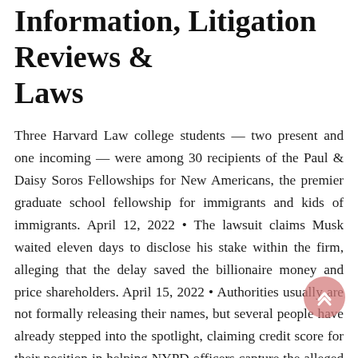Information, Litigation Reviews & Laws
Three Harvard Law college students — two present and one incoming — were among 30 recipients of the Paul & Daisy Soros Fellowships for New Americans, the premier graduate school fellowship for immigrants and kids of immigrants. April 12, 2022 • The lawsuit claims Musk waited eleven days to disclose his stake within the firm, alleging that the delay saved the billionaire money and price shareholders. April 15, 2022 • Authorities usually are not formally releasing their names, but several people have already stepped into the spotlight, claiming credit score for their position in helping NYPD officers capture the alleged gunman. City viewIn a Q&A, Professor Vicki Beau ICC discussed a government review in a New Yo...